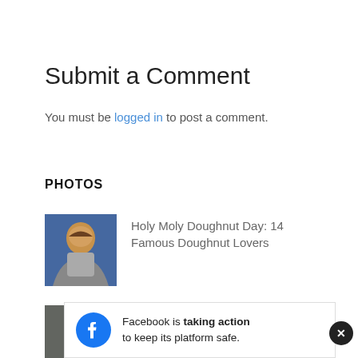Submit a Comment
You must be logged in to post a comment.
PHOTOS
Holy Moly Doughnut Day: 14 Famous Doughnut Lovers
The Red Carpet Fashion Everyone is Talking About From the 77th Annual...
[Figure (infographic): Facebook banner overlay: Facebook logo icon, text 'Facebook is taking action to keep its platform safe.' with a close button.]